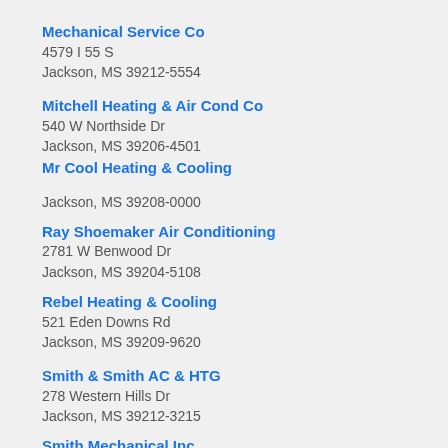Mechanical Service Co
4579 I 55 S
Jackson, MS 39212-5554
Mitchell Heating & Air Cond Co
540 W Northside Dr
Jackson, MS 39206-4501
Mr Cool Heating & Cooling

Jackson, MS 39208-0000
Ray Shoemaker Air Conditioning
2781 W Benwood Dr
Jackson, MS 39204-5108
Rebel Heating & Cooling
521 Eden Downs Rd
Jackson, MS 39209-9620
Smith & Smith AC & HTG
278 Western Hills Dr
Jackson, MS 39212-3215
Smith Mechanical Inc
4516 Office Park Dr
Jackson, MS 39206-6026